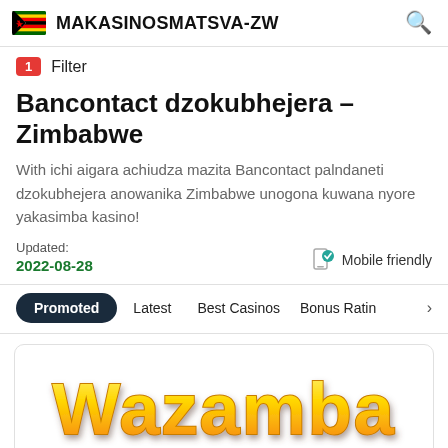MAKASINOSMATSVA-ZW
1 Filter
Bancontact dzokubhejera - Zimbabwe
With ichi aigara achiudza mazita Bancontact palndaneti dzokubhejera anowanika Zimbabwe unogona kuwana nyore yakasimba kasino!
Updated: 2022-08-28   Mobile friendly
Promoted  Latest  Best Casinos  Bonus Rating
[Figure (logo): Wazamba casino logo in yellow/gold 3D lettering with shadow effect on white card background]